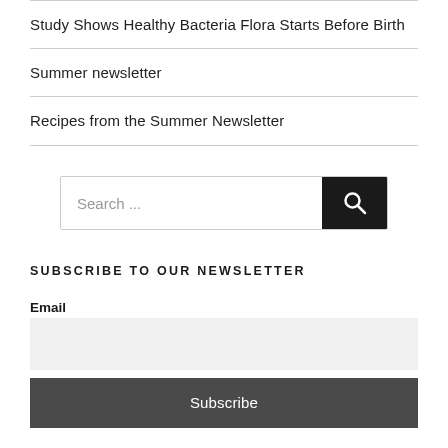Study Shows Healthy Bacteria Flora Starts Before Birth
Summer newsletter
Recipes from the Summer Newsletter
[Figure (other): Search input field with search icon button]
SUBSCRIBE TO OUR NEWSLETTER
Email
[Figure (other): Email input field (empty, light gray background)]
Subscribe